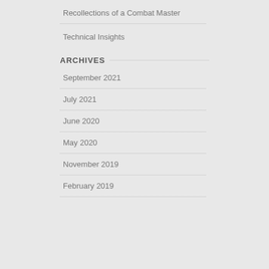Recollections of a Combat Master
Technical Insights
ARCHIVES
September 2021
July 2021
June 2020
May 2020
November 2019
February 2019